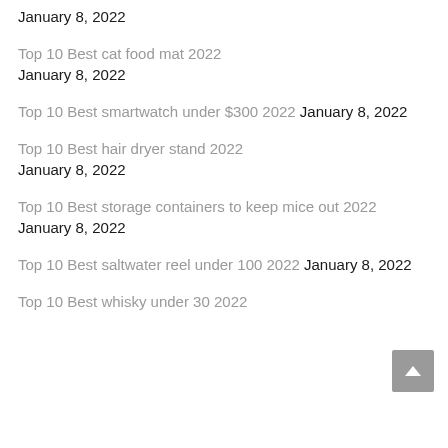January 8, 2022
Top 10 Best cat food mat 2022 January 8, 2022
Top 10 Best smartwatch under $300 2022 January 8, 2022
Top 10 Best hair dryer stand 2022 January 8, 2022
Top 10 Best storage containers to keep mice out 2022 January 8, 2022
Top 10 Best saltwater reel under 100 2022 January 8, 2022
Top 10 Best whisky under 30 2022